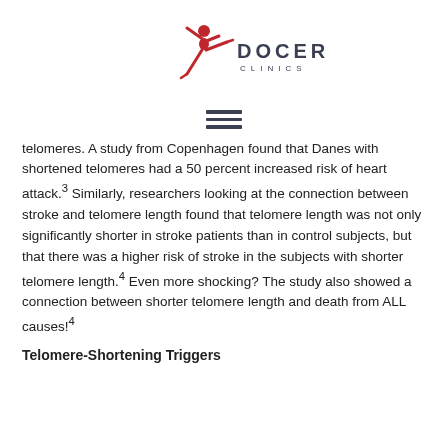[Figure (logo): Docere Clinics logo with red dancer figure and 'DOCERE CLINICS' text in dark gray]
[Figure (other): Hamburger menu icon with three horizontal dark lines]
telomeres. A study from Copenhagen found that Danes with shortened telomeres had a 50 percent increased risk of heart attack.3 Similarly, researchers looking at the connection between stroke and telomere length found that telomere length was not only significantly shorter in stroke patients than in control subjects, but that there was a higher risk of stroke in the subjects with shorter telomere length.4 Even more shocking? The study also showed a connection between shorter telomere length and death from ALL causes!4
Telomere-Shortening Triggers